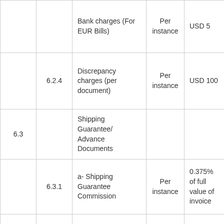|  |  | Bank charges (For EUR Bills) | Per instance | USD 5 |
|  | 6.2.4 | Discrepancy charges (per document) | Per instance | USD 100 |
| 6.3 |  | Shipping Guarantee/ Advance Documents |  |  |
|  | 6.3.1 | a- Shipping Guarantee Commission | Per instance | 0.375% of full value of invoice |
|  |  | b- VAT | Per instance | 15% of commission amount |
|  |  | c- Guarantee... |  |  |